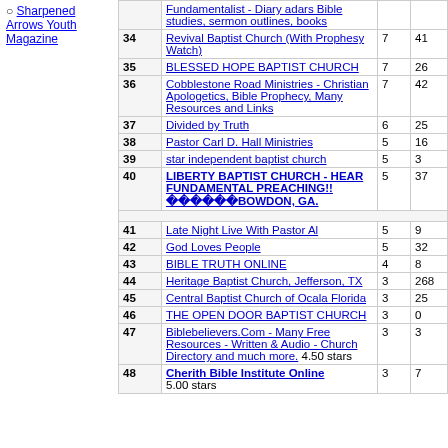Sharpened Arrows Youth Magazine
| # | Name | Votes | Hits |
| --- | --- | --- | --- |
| 34 | Revival Baptist Church (With Prophesy Watch) | 7 | 41 |
| 35 | BLESSED HOPE BAPTIST CHURCH | 7 | 26 |
| 36 | Cobblestone Road Ministries - Christian Apologetics, Bible Prophecy, Many Resources and Links | 7 | 42 |
| 37 | Divided by Truth | 6 | 25 |
| 38 | Pastor Carl D. Hall Ministries | 5 | 16 |
| 39 | star independent baptist church | 5 | 3 |
| 40 | LIBERTY BAPTIST CHURCH - HEAR FUNDAMENTAL PREACHING!! ������BOWDON, GA. | 5 | 37 |
| 41 | Late Night Live With Pastor Al | 5 | 9 |
| 42 | God Loves People | 5 | 32 |
| 43 | BIBLE TRUTH ONLINE | 4 | 8 |
| 44 | Heritage Baptist Church, Jefferson, TX | 3 | 268 |
| 45 | Central Baptist Church of Ocala Florida | 3 | 25 |
| 46 | THE OPEN DOOR BAPTIST CHURCH | 3 | 0 |
| 47 | Biblebelievers.Com - Many Free Resources - Written & Audio - Church Directory and much more. 4.50 stars | 3 | 3 |
| 48 | Cherith Bible Institute Online 5.00 stars | 3 | 7 |